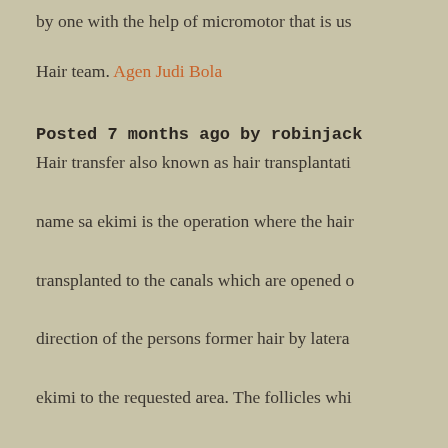by one with the help of micromotor that is us
Hair team. Agen Judi Bola
Posted 7 months ago by robinjack
Hair transfer also known as hair transplantati name sa ekimi is the operation where the hair transplanted to the canals which are opened c direction of the persons former hair by latera ekimi to the requested area. The follicles whi genetically healthy are located in the area bet ears and top side of sa ekimi the nape area ar by one with the help of micromotor that is us Hair team. agen slot online